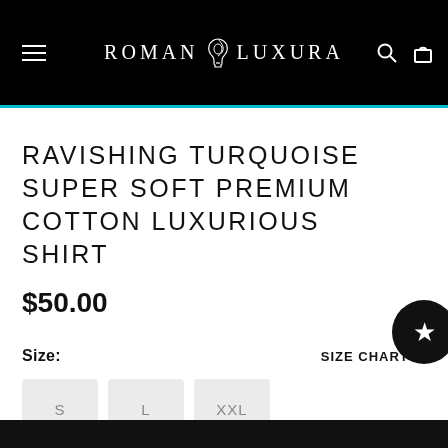ROMAN LUXURA
RAVISHING TURQUOISE SUPER SOFT PREMIUM COTTON LUXURIOUS SHIRT
$50.00
Size:
SIZE CHART >
S
L
XXL